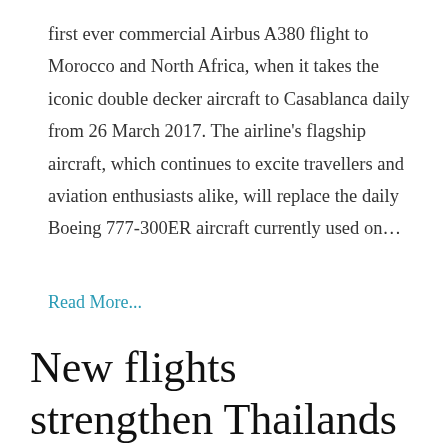first ever commercial Airbus A380 flight to Morocco and North Africa, when it takes the iconic double decker aircraft to Casablanca daily from 26 March 2017. The airline's flagship aircraft, which continues to excite travellers and aviation enthusiasts alike, will replace the daily Boeing 777-300ER aircraft currently used on…
Read More...
New flights strengthen Thailands status as